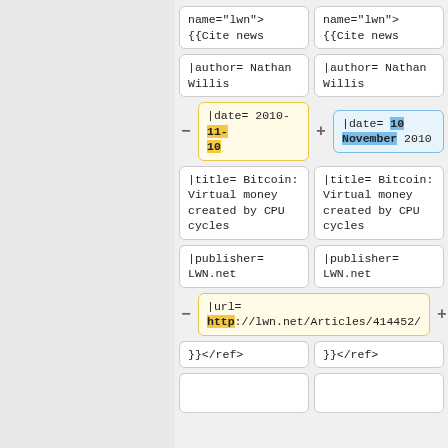[Figure (screenshot): A Wikipedia diff view showing two columns of wikitext boxes side by side. Left column (removed, yellow) and right column (added, blue) show changes to a citation template. Changed fields: date from '2010-11-10' to '10 November 2010', and url from 'http://lwn.net/Articles/414452/' to 'https://lwn.net/Articles/414452/'. The rows shown are: name='lwn'>{{Cite news, |author= Nathan Willis, |date= (changed), |title= Bitcoin: Virtual money created by CPU cycles, |publisher= LWN.net, |url= (changed), }}</ref>, and empty boxes.]